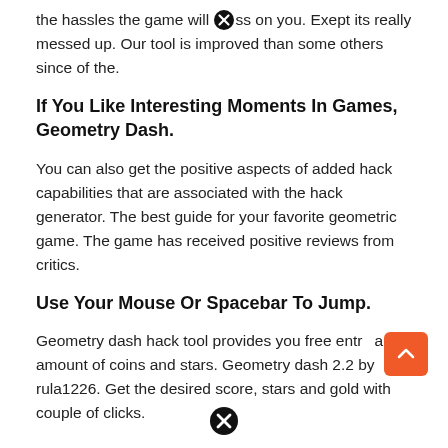the hassles the game will [x] ss on you. Exept its really messed up. Our tool is improved than some others since of the.
If You Like Interesting Moments In Games, Geometry Dash.
You can also get the positive aspects of added hack capabilities that are associated with the hack generator. The best guide for your favorite geometric game. The game has received positive reviews from critics.
Use Your Mouse Or Spacebar To Jump.
Geometry dash hack tool provides you free entry any amount of coins and stars. Geometry dash 2.2 by rula1226. Get the desired score, stars and gold with couple of clicks.